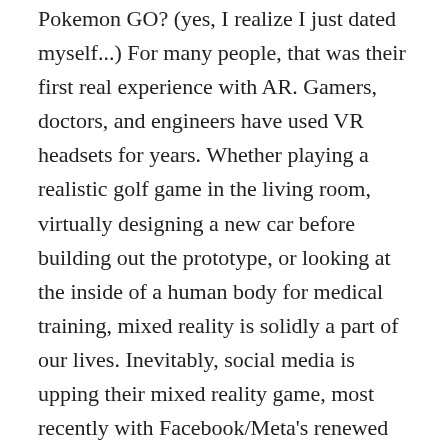Pokemon GO? (yes, I realize I just dated myself...) For many people, that was their first real experience with AR. Gamers, doctors, and engineers have used VR headsets for years. Whether playing a realistic golf game in the living room, virtually designing a new car before building out the prototype, or looking at the inside of a human body for medical training, mixed reality is solidly a part of our lives. Inevitably, social media is upping their mixed reality game, most recently with Facebook/Meta's renewed focus on creating an MR metaverse accessed via the Oculus Rift.
AI copywriting is becoming a key element in digital personalization. Adding AI to your marketing tech stack could make or break your personalization